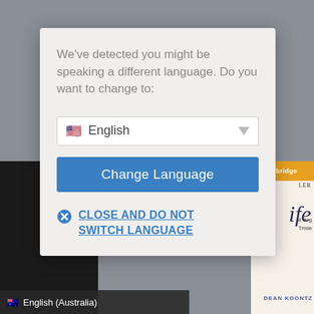[Figure (screenshot): Language selection modal dialog on a website. Modal shows text asking user about language detection, a dropdown with 'English' and US flag, a 'Change Language' button in blue, and a 'CLOSE AND DO NOT SWITCH LANGUAGE' link. Background shows book covers and a bottom bar with 'English (Australia)' flag text.]
We've detected you might be speaking a different language. Do you want to change to:
English
Change Language
CLOSE AND DO NOT SWITCH LANGUAGE
English (Australia)